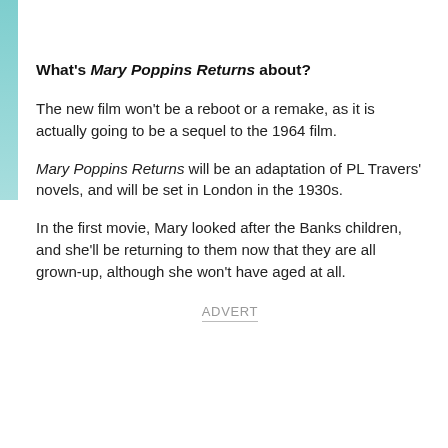What's Mary Poppins Returns about?
The new film won't be a reboot or a remake, as it is actually going to be a sequel to the 1964 film.
Mary Poppins Returns will be an adaptation of PL Travers' novels, and will be set in London in the 1930s.
In the first movie, Mary looked after the Banks children, and she'll be returning to them now that they are all grown-up, although she won't have aged at all.
ADVERT